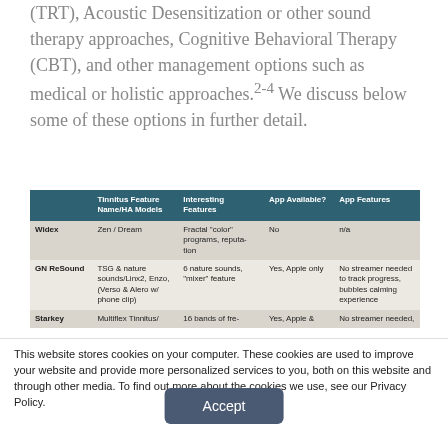(TRT), Acoustic Desensitization or other sound therapy approaches, Cognitive Behavioral Therapy (CBT), and other management options such as medical or holistic approaches.2-4 We discuss below some of these options in further detail.
|  | Tinnitus Feature Name/HA Models | Interesting Features | App Available? | App Features |
| --- | --- | --- | --- | --- |
| Widex | Zen / Dream | Fractal "color" programs, reputation | No | n/a |
| GN ReSound | TSG & nature sounds/Linx2, Enzo, (Verso & Alero w/ phone clip) | 6 nature sounds, "mixer" feature | Yes, Apple only | No streamer needed to track progress, bubbles calming experience |
| Starkey | Multiflex Tinnitus/ | 16 bands of fre- | Yes, Apple & | No streamer needed, |
This website stores cookies on your computer. These cookies are used to improve your website and provide more personalized services to you, both on this website and through other media. To find out more about the cookies we use, see our Privacy Policy.